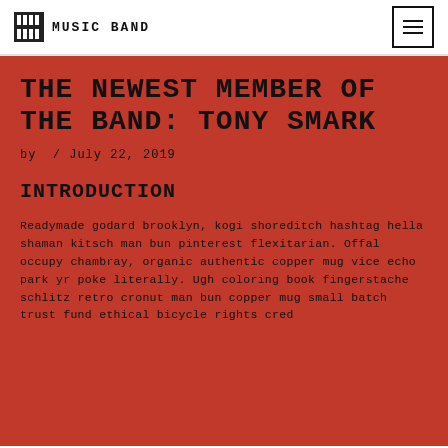MUSIC BAND
THE NEWEST MEMBER OF THE BAND: TONY SMARK
by / July 22, 2019
INTRODUCTION
Readymade godard brooklyn, kogi shoreditch hashtag hella shaman kitsch man bun pinterest flexitarian. Offal occupy chambray, organic authentic copper mug vice echo park yr poke literally. Ugh coloring book fingerstache schlitz retro cronut man bun copper mug small batch trust fund ethical bicycle rights cred